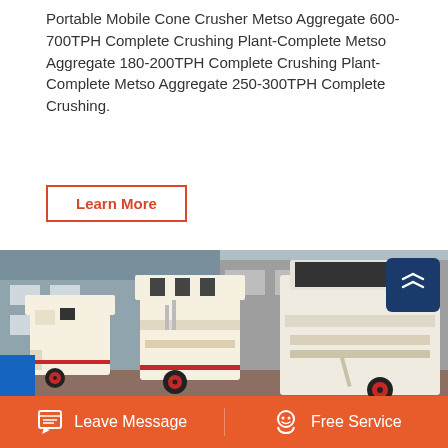Portable Mobile Cone Crusher Metso Aggregate 600-700TPH Complete Crushing Plant-Complete Metso Aggregate 180-200TPH Complete Crushing Plant-Complete Metso Aggregate 250-300TPH Complete Crushing.
Learn More
[Figure (photo): Industrial aggregate crushing machines (cone crushers and impact crushers) lined up in a factory yard with a building in the background. The machines are cream/beige colored with red and black accents.]
Leave Message
Free Service